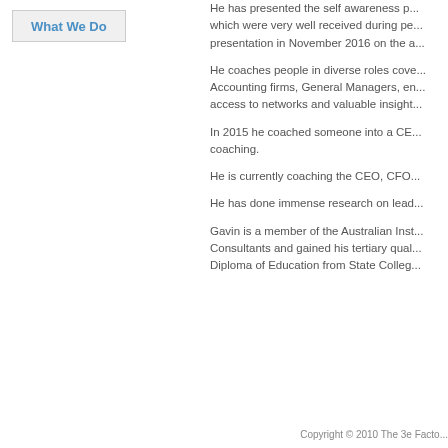What We Do
He has presented the self awareness programs which were very well received during pe... presentation in November 2016 on the a...
He coaches people in diverse roles cove... Accounting firms, General Managers, en... access to networks and valuable insight...
In 2015 he coached someone into a CE... coaching.
He is currently coaching the CEO, CFO...
He has done immense research on lead...
Gavin is a member of the Australian Inst... Consultants and gained his tertiary qual... Diploma of Education from State Colleg...
Copyright © 2010 The 3e Facto...